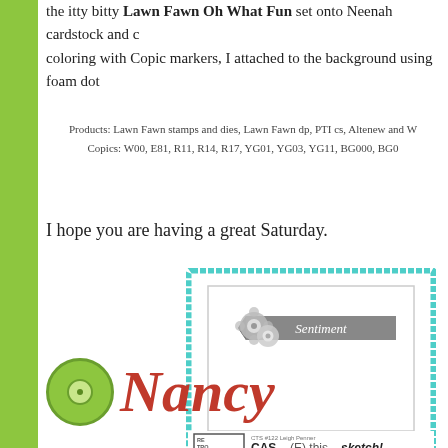the itty bitty Lawn Fawn Oh What Fun set onto Neenah cardstock and coloring with Copic markers, I attached to the background using foam dot
Products: Lawn Fawn stamps and dies, Lawn Fawn dp, PTI cs, Altenew and W
Copics: W00, E81, R11, R14, R17, YG01, YG03, YG11, BG000, BG0
I hope you are having a great Saturday.
[Figure (illustration): Card sketch template with teal/turquoise decorative border, inner white rectangle, gray banner with flowers and 'Sentiment' text. Footer reads 'RETRO CTS #122 Leigh Penner CAS(E) this sketch!']
[Figure (illustration): Green button circle logo with Nancy script text in red/cursive font]